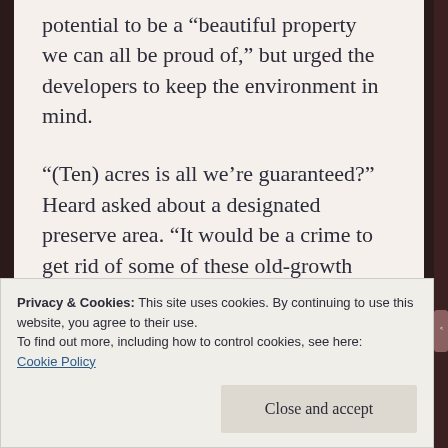potential to be a “beautiful property we can all be proud of,” but urged the developers to keep the environment in mind.
“(Ten) acres is all we’re guaranteed?” Heard asked about a designated preserve area. “It would be a crime to get rid of some of these old-growth oaks and so forth.”
The crime has been committed. The
Privacy & Cookies: This site uses cookies. By continuing to use this website, you agree to their use.
To find out more, including how to control cookies, see here: Cookie Policy